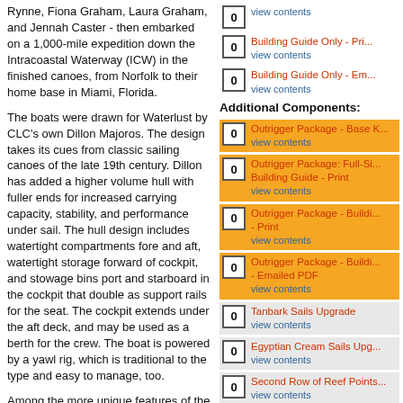Rynne, Fiona Graham, Laura Graham, and Jennah Caster - then embarked on a 1,000-mile expedition down the Intracoastal Waterway (ICW) in the finished canoes, from Norfolk to their home base in Miami, Florida.
The boats were drawn for Waterlust by CLC's own Dillon Majoros. The design takes its cues from classic sailing canoes of the late 19th century. Dillon has added a higher volume hull with fuller ends for increased carrying capacity, stability, and performance under sail. The hull design includes watertight compartments fore and aft, watertight storage forward of cockpit, and stowage bins port and starboard in the cockpit that double as support rails for the seat. The cockpit extends under the aft deck, and may be used as a berth for the crew. The boat is powered by a yawl rig, which is traditional to the type and easy to manage, too.
Among the more unique features of the design is an integrated Hobie Mirage Drive for auxiliary power. This drops into a trunk
0 | view contents
0 | Building Guide Only - Pri... | view contents
0 | Building Guide Only - Em... | view contents
Additional Components:
0 | Outrigger Package - Base K... | view contents
0 | Outrigger Package: Full-Si... Building Guide - Print | view contents
0 | Outrigger Package - Buildi... - Print | view contents
0 | Outrigger Package - Buildi... - Emailed PDF | view contents
0 | Tanbark Sails Upgrade | view contents
0 | Egyptian Cream Sails Upg... | view contents
0 | Second Row of Reef Points... | view contents